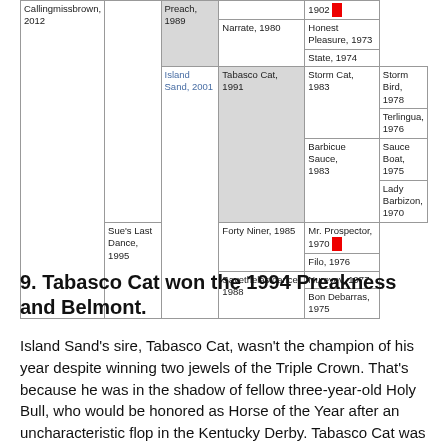| Col1 | Col2 | Col3 | Col4 | Col5 |
| --- | --- | --- | --- | --- |
| Callingmissbrown, 2012 |  | Preach, 1989 |  | 1902 |
|  |  |  | Narrate, 1980 | Honest Pleasure, 1973 |
|  |  |  |  | State, 1974 |
|  | Island Sand, 2001 | Tabasco Cat, 1991 | Storm Cat, 1983 | Storm Bird, 1978 |
|  |  |  |  | Terlingua, 1976 |
|  |  |  | Barbicue Sauce, 1983 | Sauce Boat, 1975 |
|  |  |  |  | Lady Barbizon, 1970 |
|  |  | Sue's Last Dance, 1995 | Forty Niner, 1985 | Mr. Prospector, 1970 |
|  |  |  |  | Filo, 1976 |
|  |  |  | Savethelastdance, 1988 | Nureyev, 1977 |
|  |  |  |  | Bon Debarras, 1975 |
9. Tabasco Cat won the 1994 Preakness and Belmont.
Island Sand's sire, Tabasco Cat, wasn't the champion of his year despite winning two jewels of the Triple Crown. That's because he was in the shadow of fellow three-year-old Holy Bull, who would be honored as Horse of the Year after an uncharacteristic flop in the Kentucky Derby. Tabasco Cat was himself only sixth in the Derby behind Go for Gin at a sloppy Churchill Downs, but turned